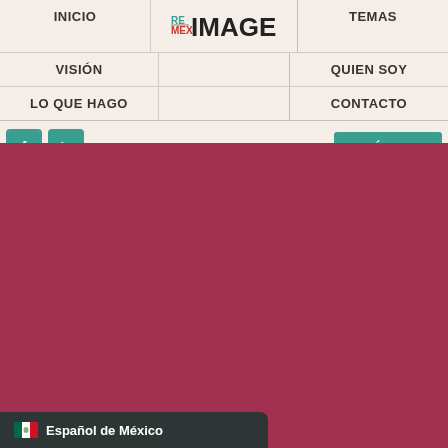INICIO | RE MEX IMAGE | TEMAS | VISIÓN | QUIEN SOY | LO QUE HAGO | CONTACTO
[Figure (logo): REMEX IMAGE logo — RE and MEX in teal/red, IMAGE in black bold text]
f  in  ARTÍCULOS
[Figure (photo): Large crimson/dark rose colored background area filling the main content area]
Español de México